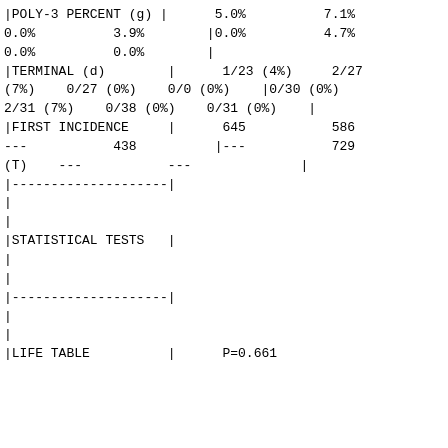|POLY-3 PERCENT (g) |      5.0%          7.1%
0.0%          3.9%        |0.0%          4.7%
0.0%          0.0%        |
|TERMINAL (d)        |      1/23 (4%)     2/27
(7%)    0/27 (0%)    0/0 (0%)    |0/30 (0%)
2/31 (7%)    0/38 (0%)    0/31 (0%)    |
|FIRST INCIDENCE     |      645           586
---           438          |---           729
(T)    ---           ---              |
|--------------------|
|
|
|STATISTICAL TESTS   |
|
|
|--------------------|
|
|
|LIFE TABLE          |      P=0.661